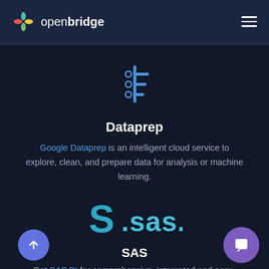openbridge
[Figure (logo): Openbridge logo: colorful pinwheel/asterisk icon in teal, yellow, green followed by text 'open' (light) and 'bridge' (bold) in white]
[Figure (illustration): Blue data pipeline / filter icon with circles and horizontal bars]
Dataprep
Google Dataprep is an intelligent cloud service to explore, clean, and prepare data for analysis or machine learning.
[Figure (logo): SAS logo: teal-blue stylized S swirl followed by '.sas.' text in teal/white]
SAS
Get SAS BI for comprehensive, integrated and easy-